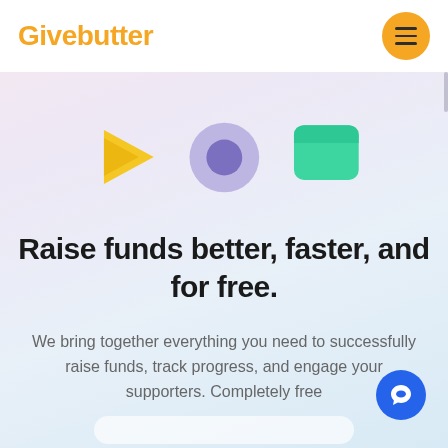Givebutter
[Figure (illustration): Three decorative icons: a yellow triangle/arrow pointing left, a purple circle with darker purple center, and a green rounded rectangle (tab/card shape)]
Raise funds better, faster, and for free.
We bring together everything you need to successfully raise funds, track progress, and engage your supporters. Completely free